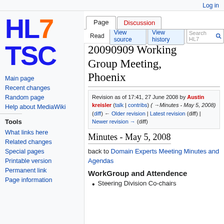Log in
[Figure (logo): HL7 TSC logo with HL7 in blue/orange and TSC in blue]
Main page
Recent changes
Random page
Help about MediaWiki
Tools
What links here
Related changes
Special pages
Printable version
Permanent link
Page information
20090909 Working Group Meeting, Phoenix
Revision as of 17:41, 27 June 2008 by Austin kreisler (talk | contribs) (→Minutes - May 5, 2008)
(diff) ← Older revision | Latest revision (diff) | Newer revision → (diff)
Minutes - May 5, 2008
back to Domain Experts Meeting Minutes and Agendas
WorkGroup and Attendence
Steering Division Co-chairs